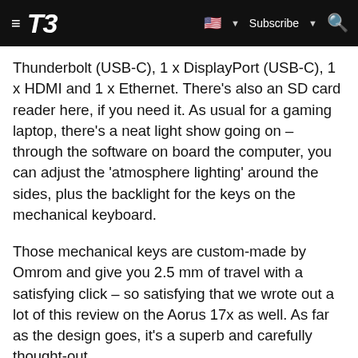T3 — Subscribe
Thunderbolt (USB-C), 1 x DisplayPort (USB-C), 1 x HDMI and 1 x Ethernet. There's also an SD card reader here, if you need it. As usual for a gaming laptop, there's a neat light show going on – through the software on board the computer, you can adjust the 'atmosphere lighting' around the sides, plus the backlight for the keys on the mechanical keyboard.
Those mechanical keys are custom-made by Omrom and give you 2.5 mm of travel with a satisfying click – so satisfying that we wrote out a lot of this review on the Aorus 17x as well. As far as the design goes, it's a superb and carefully thought-out
[Figure (screenshot): BitLife advertisement banner — red background with cartoon 'FAIL' label, blonde character covering face, fire graphic on left; yellow/gold right side with BitLife logo, sperm icon, help and close buttons, and 'START A NEW LIFE' black label]